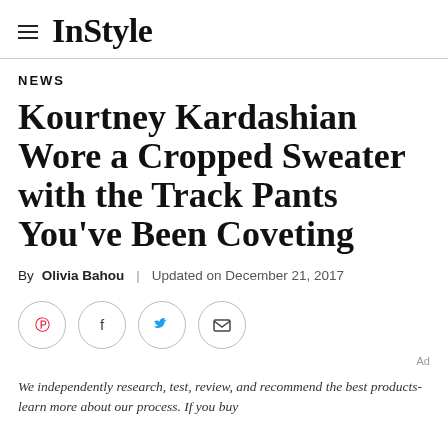InStyle
NEWS
Kourtney Kardashian Wore a Cropped Sweater with the Track Pants You've Been Coveting
By Olivia Bahou | Updated on December 21, 2017
[Figure (other): Social share icons: Pinterest, Facebook, Twitter, Email]
We independently research, test, review, and recommend the best products-learn more about our process. If you buy